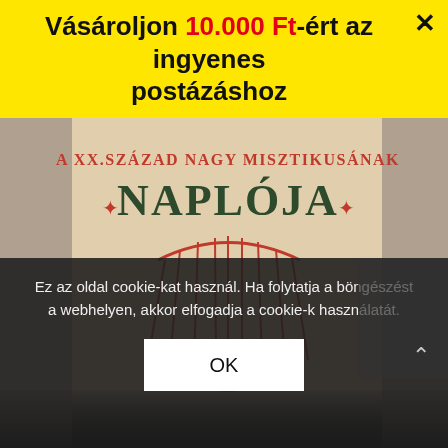[Figure (photo): Book cover of 'A XX. Század Nagy Misztikusának Naplója' (Diary of the Great Mystic of the 20th Century). Yellowish/beige aged paper background with dark green and red text. Title text 'A XX. SZÁZAD NAGY MISZTIKUSÁNAK' in red serif letters, 'NAPLÓJA' in large dark green bold letters with decorative red star/cross symbols on each side. Below the title is a red line drawing of a crescent/arc shape with radiating vertical lines going downward, evoking mystical symbolism. Bottom portion fades to black.]
Vásároljon 10.000 Ft-ért az ingyenes postázáshoz
Ez az oldal cookie-kat használ. Ha folytatja a böngészést a webhelyen, akkor elfogadja a cookie-k használatát.
OK